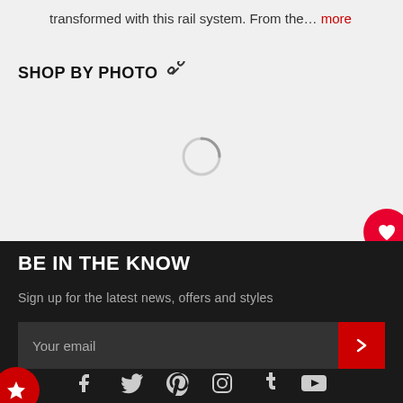transformed with this rail system. From the… more
SHOP BY PHOTO 🔗
[Figure (other): Loading spinner circle indicator]
[Figure (other): Heart/favourite button (red circle with white heart icon)]
BE IN THE KNOW
Sign up for the latest news, offers and styles
Your email
[Figure (other): Star/bookmark button (red circle with white star icon)]
[Figure (other): Social media icons row: Facebook, Twitter, Pinterest, Instagram, Tumblr, YouTube]